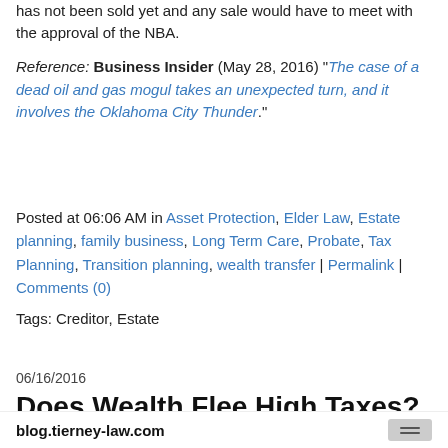has not been sold yet and any sale would have to meet with the approval of the NBA.
Reference: Business Insider (May 28, 2016) "The case of a dead oil and gas mogul takes an unexpected turn, and it involves the Oklahoma City Thunder."
Posted at 06:06 AM in Asset Protection, Elder Law, Estate planning, family business, Long Term Care, Probate, Tax Planning, Transition planning, wealth transfer | Permalink | Comments (0)
Tags: Creditor, Estate
06/16/2016
Does Wealth Flee High Taxes?
Many state legislators share the common concern that if they increase taxes on their wealthiest residents, those residents will move to lower tax jurisdictions. However, data suggests that there is little basis for that concern.
blog.tierney-law.com